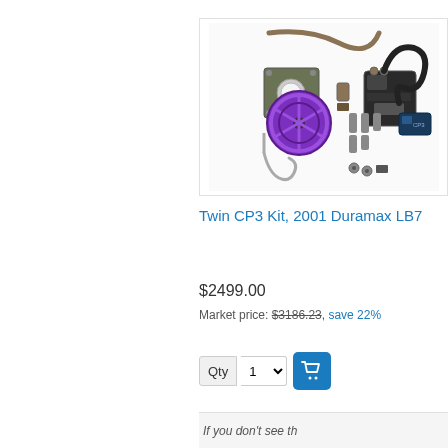[Figure (photo): Product photo of Twin CP3 Kit showing various mechanical parts including a purple pulley wheel, hoses, brackets, bolts, and fuel pump components laid out on a white background]
Twin CP3 Kit, 2001 Duramax LB7
$2499.00
Market price: $3186.23, save 22%
If you don't see th…